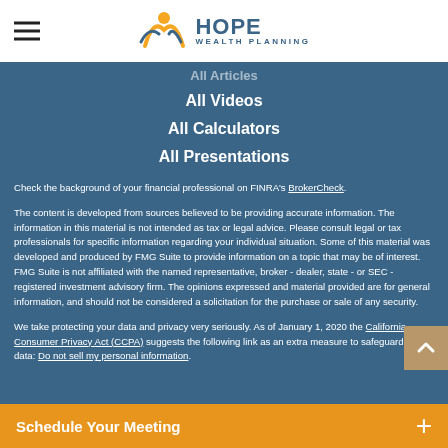Hope Wealth Planning
All Videos
All Calculators
All Presentations
Check the background of your financial professional on FINRA's BrokerCheck.
The content is developed from sources believed to be providing accurate information. The information in this material is not intended as tax or legal advice. Please consult legal or tax professionals for specific information regarding your individual situation. Some of this material was developed and produced by FMG Suite to provide information on a topic that may be of interest. FMG Suite is not affiliated with the named representative, broker - dealer, state - or SEC - registered investment advisory firm. The opinions expressed and material provided are for general information, and should not be considered a solicitation for the purchase or sale of any security.
We take protecting your data and privacy very seriously. As of January 1, 2020 the California Consumer Privacy Act (CCPA) suggests the following link as an extra measure to safeguard your data: Do not sell my personal information.
Schedule Your Meeting